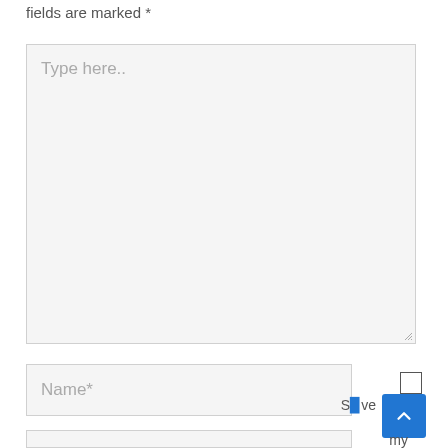fields are marked *
[Figure (screenshot): A web form textarea with placeholder text 'Type here..' and a resize handle in the bottom-right corner. Below is a Name* input field and a checkbox. A blue scroll-to-top button with an upward arrow is visible in the lower right. The text 'Save my' is partially visible near the button.]